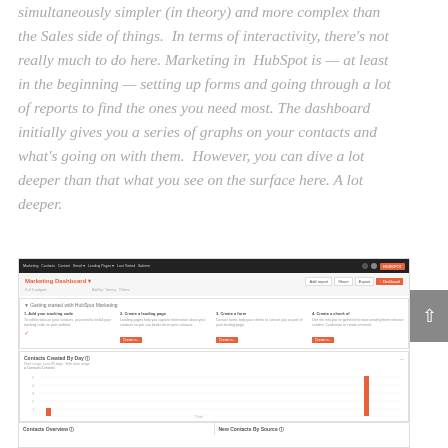simultaneously simpler (in theory) and more complex than the Sales side of things. In terms of interactivity, there's not really much to do here. Marketing in HubSpot is — at least in the beginning — setting up forms and going through a lot of reports to find the ones you need most. The dashboard initially gives you a series of graphs on your contacts and what's going on with them. However, you can dive a lot deeper than that what you see on the surface here. A lot deeper.
[Figure (screenshot): Screenshot of HubSpot Marketing Dashboard showing a nav bar, 'Getting started with HubSpot Marketing' steps panel, and a 'Contacts Created By Day' bar chart with an orange spike on the right side.]